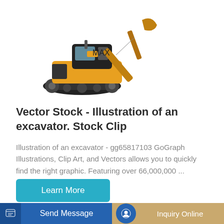[Figure (illustration): Yellow and black tracked excavator, side/front view, on white background]
Vector Stock - Illustration of an excavator. Stock Clip
Illustration of an excavator - gg65817103 GoGraph Illustrations, Clip Art, and Vectors allows you to quickly find the right graphic. Featuring over 66,000,000 ...
Learn More
[Figure (photo): Yellow excavator arm/bucket close-up, partial view from below]
[Figure (photo): Excavator cab operator station, close-up view, dark/black machine]
Send Message
Inquiry Online